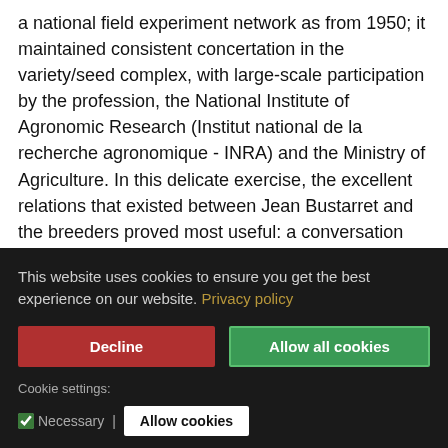a national field experiment network as from 1950; it maintained consistent concertation in the variety/seed complex, with large-scale participation by the profession, the National Institute of Agronomic Research (Institut national de la recherche agronomique - INRA) and the Ministry of Agriculture. In this delicate exercise, the excellent relations that existed between Jean Bustarret and the breeders proved most useful: a conversation with his old friend Florimond Desprez frequently made it possible to identify the good solution...
This website uses cookies to ensure you get the best experience on our website. Privacy policy
Cookie settings: Necessary | Allow cookies